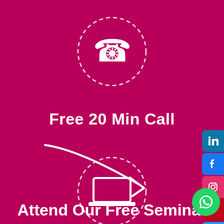[Figure (illustration): White phone handset icon inside a dashed circle on magenta/crimson background]
Free 20 Min Call
[Figure (illustration): White arrow pointing down-right]
[Figure (illustration): White laptop icon inside a dashed circle on magenta/crimson background]
[Figure (illustration): Social media icons on the right side: LinkedIn, Facebook, Instagram, Pinterest, Twitter, Phone call, WhatsApp]
Attend Our Free Seminar